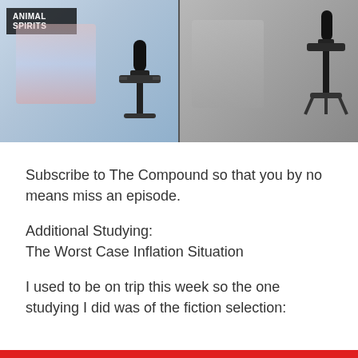[Figure (screenshot): Screenshot of Animal Spirits podcast video call with two hosts and microphones, with the Animal Spirits logo in the upper left of the left panel.]
Subscribe to The Compound so that you by no means miss an episode.
Additional Studying:
The Worst Case Inflation Situation
I used to be on trip this week so the one studying I did was of the fiction selection: